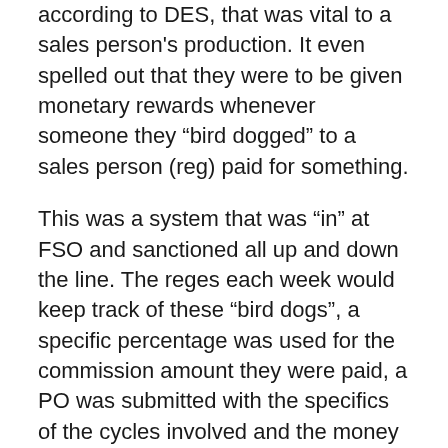according to DES, that was vital to a sales person's production. It even spelled out that they were to be given monetary rewards whenever someone they “bird dogged” to a sales person (reg) paid for something.
This was a system that was “in” at FSO and sanctioned all up and down the line. The reges each week would keep track of these “bird dogs”, a specific percentage was used for the commission amount they were paid, a PO was submitted with the specifics of the cycles involved and the money was paid to the reg who then presented it to the “bird dog”. All above board and represented for exactly what it was. As a D of P, my pc’s needed to re-sign. It was something that was survival for my HGC as I then had more pc’s to audit and the auditor’s were not then idle as a result. I got very good at this. I didn’t do it for the commissions, nor did I even keep track or expect it. It was